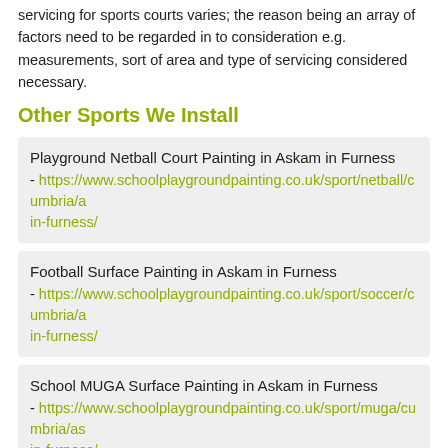servicing for sports courts varies; the reason being an array of factors need to be regarded in to consideration e.g. measurements, sort of area and type of servicing considered necessary.
Other Sports We Install
Playground Netball Court Painting in Askam in Furness - https://www.schoolplaygroundpainting.co.uk/sport/netball/cumbria/askam-in-furness/
Football Surface Painting in Askam in Furness - https://www.schoolplaygroundpainting.co.uk/sport/soccer/cumbria/askam-in-furness/
School MUGA Surface Painting in Askam in Furness - https://www.schoolplaygroundpainting.co.uk/sport/muga/cumbria/askam-in-furness/
School Tennis Court Painting in Askam in Furness - https://www.schoolplaygroundpainting.co.uk/sport/tennis/cumbria/askam-in-furness/